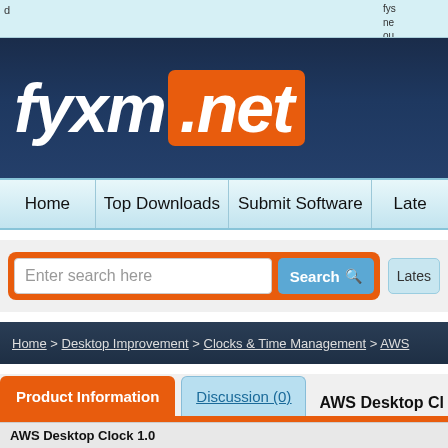d  |  fys ne ou do
[Figure (screenshot): fyxm.net website logo banner with white italic 'fyxm' text and orange rounded rectangle containing '.net' text on dark navy blue background]
Home | Top Downloads | Submit Software | Late
Enter search here  Search  Lates
Home > Desktop Improvement > Clocks & Time Management > AWS
Product Information  Discussion (0)  AWS Desktop Cl
AWS Desktop Clock 1.0